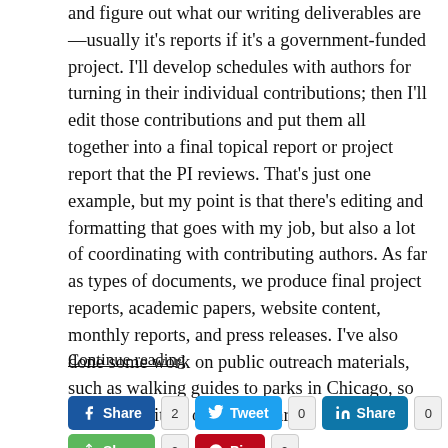and figure out what our writing deliverables are—usually it's reports if it's a government-funded project. I'll develop schedules with authors for turning in their individual contributions; then I'll edit those contributions and put them all together into a final topical report or project report that the PI reviews. That's just one example, but my point is that there's editing and formatting that goes with my job, but also a lot of coordinating with contributing authors. As far as types of documents, we produce final project reports, academic papers, website content, monthly reports, and press releases. I've also done some work on public outreach materials, such as walking guides to parks in Chicago, so it's a little bit all over the board.
Continue reading
[Figure (infographic): Social sharing buttons: Facebook Share (count 2), Twitter Tweet (count 0), LinkedIn Share (count 0), Email (count 0), and partial row below with green Share (count 2) and red Pin (count 0)]